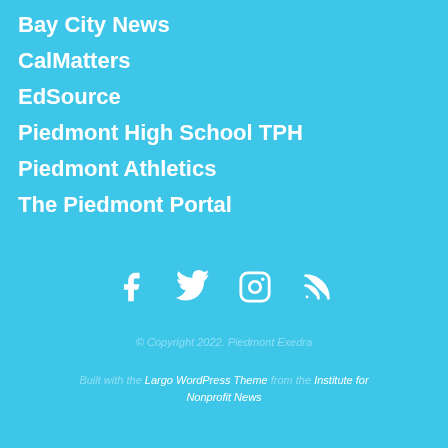Bay City News
CalMatters
EdSource
Piedmont High School TPH
Piedmont Athletics
The Piedmont Portal
[Figure (infographic): Social media icons: Facebook, Twitter, Instagram, RSS feed — white icons on sky blue background]
© Copyright 2022. Piedmont Exedra
Built with the Largo WordPress Theme from the Institute for Nonprofit News